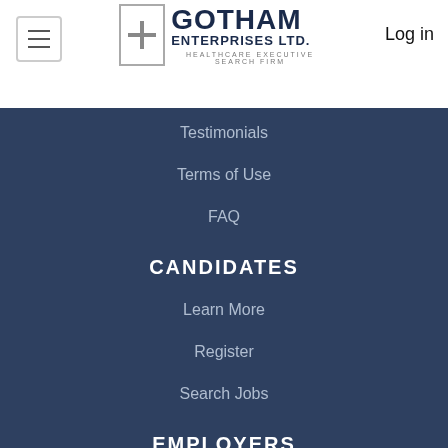[Figure (logo): Gotham Enterprises Ltd. Healthcare Executive Search Firm logo with cross icon]
Log in
Testimonials
Terms of Use
FAQ
CANDIDATES
Learn More
Register
Search Jobs
EMPLOYERS